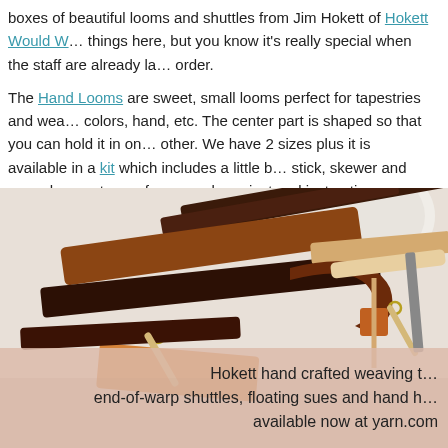boxes of beautiful looms and shuttles from Jim Hokett of Hokett Would W… things here, but you know it's really special when the staff are already la… order.
The Hand Looms are sweet, small looms perfect for tapestries and wea… colors, hand, etc. The center part is shaped so that you can hold it in on… other. We have 2 sizes plus it is available in a kit which includes a little b… stick, skewer and enough carpet warp for a couple project and instructio…
[Figure (photo): A flat-lay photo of Hokett hand crafted weaving tools including wooden looms, shuttles, and spindles arranged on a white surface with a ball of white yarn. Overlaid text caption reads: 'Hokett hand crafted weaving t… end-of-warp shuttles, floating sues and hand h… available now at yarn.com']